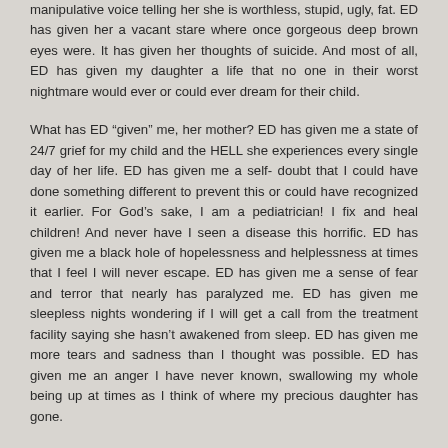manipulative voice telling her she is worthless, stupid, ugly, fat. ED has given her a vacant stare where once gorgeous deep brown eyes were. It has given her thoughts of suicide. And most of all, ED has given my daughter a life that no one in their worst nightmare would ever or could ever dream for their child.
What has ED “given” me, her mother? ED has given me a state of 24/7 grief for my child and the HELL she experiences every single day of her life. ED has given me a self- doubt that I could have done something different to prevent this or could have recognized it earlier. For God’s sake, I am a pediatrician! I fix and heal children! And never have I seen a disease this horrific. ED has given me a black hole of hopelessness and helplessness at times that I feel I will never escape. ED has given me a sense of fear and terror that nearly has paralyzed me. ED has given me sleepless nights wondering if I will get a call from the treatment facility saying she hasn’t awakened from sleep. ED has given me more tears and sadness than I thought was possible. ED has given me an anger I have never known, swallowing my whole being up at times as I think of where my precious daughter has gone.
What has ED “given” her twin brother? ED has given him a sense of